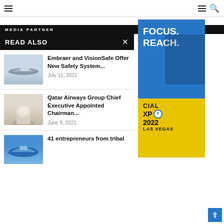Navigation header with hamburger menu and search icon
MEDIA PARTNER
READ ALSO ×
[Figure (screenshot): Advertisement banner with blue and yellow sections, text: FOCUS. REACH. CIAL XPO 2022 LAS VEGAS]
Embraer and VisionSafe Offer New Safety System... July 11, 2021
Qatar Airways Group Chief Executive Appointed Chairman... June 9, 2021
41 entrepreneurs from tribal